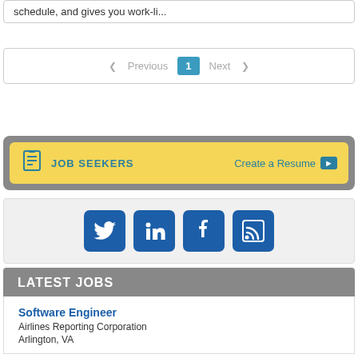schedule, and gives you work-li...
< Previous  1  Next >
[Figure (infographic): Job Seekers banner with icon, label 'JOB SEEKERS', and 'Create a Resume >' link on yellow background with grey outer border]
[Figure (infographic): Social media icons row: Twitter, LinkedIn, Facebook, RSS feed on light grey background]
LATEST JOBS
Software Engineer
Airlines Reporting Corporation
Arlington, VA